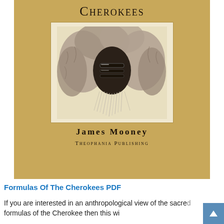[Figure (illustration): Book cover for 'Formulas of the Cherokees' by James Mooney, published by Theophania Publishing. Tan/brown parchment-colored background with a central white-bordered illustration of a Native American mask or face surrounded by fur/feathers, with long white beard-like fibers at the bottom.]
Formulas Of The Cherokees PDF
If you are interested in an anthropological view of the sacred formulas of the Cherokee then this wi